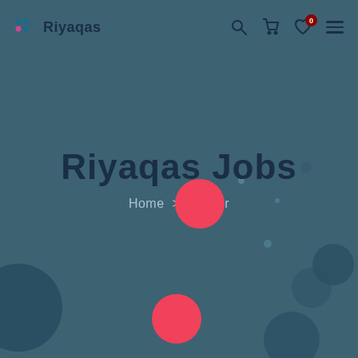Riyaqas
[Figure (screenshot): Website screenshot showing Riyaqas Jobs career page hero section with teal/dark blue background, decorative circles, navigation bar with logo, search, cart, wishlist (0), and hamburger icons. Large bold title 'Riyaqas Jobs' with breadcrumb 'Home > Career' below.]
Riyaqas Jobs
Home > Career